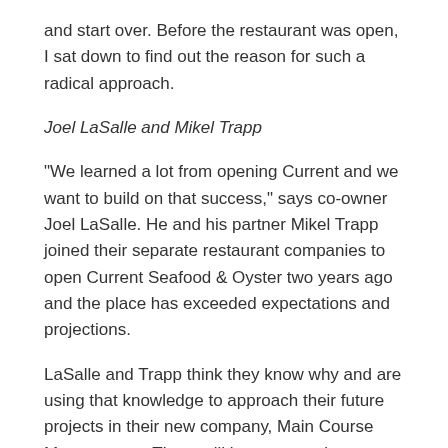and start over. Before the restaurant was open, I sat down to find out the reason for such a radical approach.
Joel LaSalle and Mikel Trapp
“We learned a lot from opening Current and we want to build on that success,” says co-owner Joel LaSalle. He and his partner Mikel Trapp joined their separate restaurant companies to open Current Seafood & Oyster two years ago and the place has exceeded expectations and projections.
LaSalle and Trapp think they know why and are using that knowledge to approach their future projects in their new company, Main Course Management. There will be many projects to come, but the first thing they tackled was a remake of Faustina, their little cafe that almost could.
Faustina was a mild mainstay on the downtown dining scene for